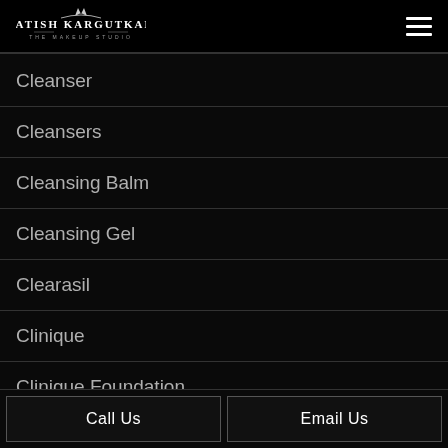Satish Kargutkar — The Makeup Studio
Cleanser
Cleansers
Cleansing Balm
Cleansing Gel
Clearasil
Clinique
Clinique Foundation
Call Us | Email Us